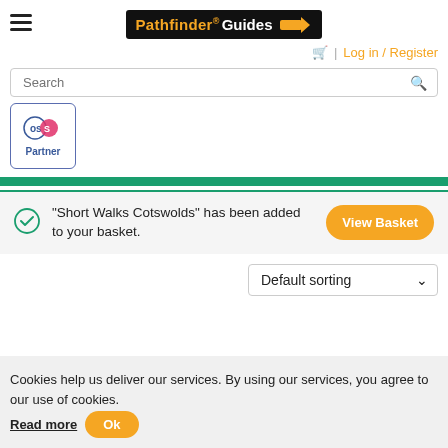[Figure (logo): Pathfinder Guides logo on black background with orange arrow sign]
Log in / Register
Search
[Figure (logo): OS Partner badge logo]
“Short Walks Cotswolds” has been added to your basket.
View Basket
Default sorting
Cookies help us deliver our services. By using our services, you agree to our use of cookies. Read more Ok